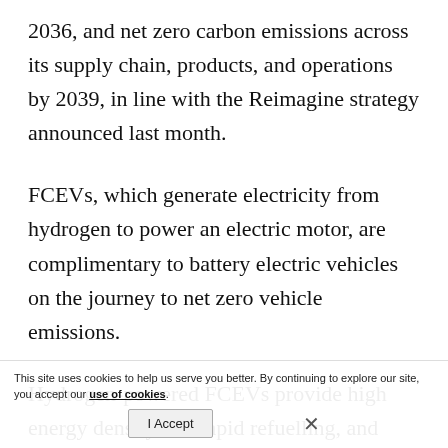2036, and net zero carbon emissions across its supply chain, products, and operations by 2039, in line with the Reimagine strategy announced last month.
FCEVs, which generate electricity from hydrogen to power an electric motor, are complimentary to battery electric vehicles on the journey to net zero vehicle emissions.
Hydrogen-powered FCEVs provide high energy density and rapid refuelling, and minimal loss of range in low temperatures, making the technology ideal for larger, longer-range vehicles, or those operating in hot or cold environments.
This site uses cookies to help us serve you better. By continuing to explore our site, you accept our use of cookies. [I Accept] ×